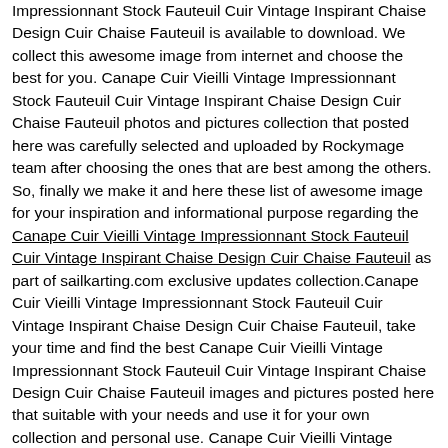Impressionnant Stock Fauteuil Cuir Vintage Inspirant Chaise Design Cuir Chaise Fauteuil is available to download. We collect this awesome image from internet and choose the best for you. Canape Cuir Vieilli Vintage Impressionnant Stock Fauteuil Cuir Vintage Inspirant Chaise Design Cuir Chaise Fauteuil photos and pictures collection that posted here was carefully selected and uploaded by Rockymage team after choosing the ones that are best among the others. So, finally we make it and here these list of awesome image for your inspiration and informational purpose regarding the Canape Cuir Vieilli Vintage Impressionnant Stock Fauteuil Cuir Vintage Inspirant Chaise Design Cuir Chaise Fauteuil as part of sailkarting.com exclusive updates collection.Canape Cuir Vieilli Vintage Impressionnant Stock Fauteuil Cuir Vintage Inspirant Chaise Design Cuir Chaise Fauteuil, take your time and find the best Canape Cuir Vieilli Vintage Impressionnant Stock Fauteuil Cuir Vintage Inspirant Chaise Design Cuir Chaise Fauteuil images and pictures posted here that suitable with your needs and use it for your own collection and personal use. Canape Cuir Vieilli Vintage Impressionnant Stock Fauteuil Cuir Vintage Inspirant Chaise Design